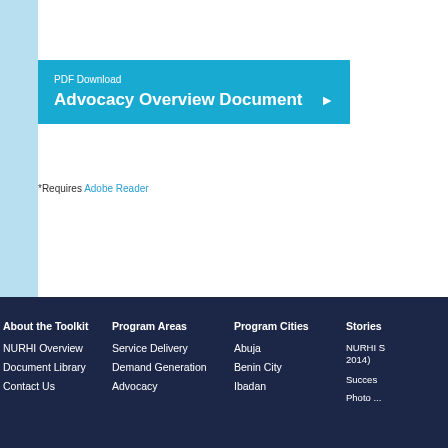PDF Download
Advocacy Overview Document ▶
*Requires Adobe Reader
About the Toolkit
NURHI Overview
Document Library
Contact Us
Program Areas
Service Delivery
Demand Generation
Advocacy
Program Cities
Abuja
Benin City
Ibadan
Stories
NURHI S... 2014)
Success...
Photo ...